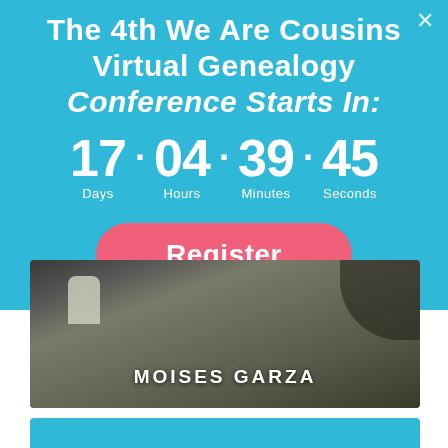The 4th We Are Cousins Virtual Genealogy Conference Starts In:
17 · 04 · 39 · 45
Days   Hours   Minutes   Seconds
Register
[Figure (photo): Black and white photo of a cemetery/graveyard landscape with a gravestone visible at left and a dark shape at upper right. Text overlay reads 'MOISES GARZA' in white capital letters.]